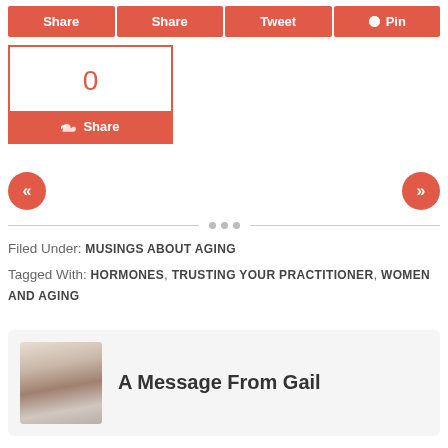[Figure (screenshot): Social share buttons row: Share, Share, Tweet, Pin (coral/red background)]
[Figure (screenshot): StumbleUpon share widget showing count of 0 and Share button]
[Figure (screenshot): Navigation arrows (left double chevron, right double chevron) in coral circles]
Filed Under: MUSINGS ABOUT AGING
Tagged With: HORMONES, TRUSTING YOUR PRACTITIONER, WOMEN AND AGING
A Message From Gail